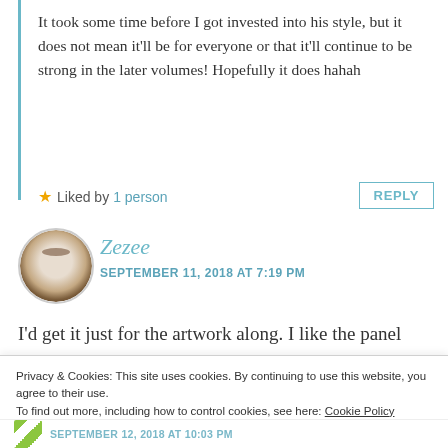It took some time before I got invested into his style, but it does not mean it'll be for everyone or that it'll continue to be strong in the later volumes! Hopefully it does hahah
★ Liked by 1 person
REPLY
[Figure (photo): Circular avatar photo of a latte/coffee drink with foam art and chocolate sprinkles, representing user Zezee]
Zezee
SEPTEMBER 11, 2018 AT 7:19 PM
I'd get it just for the artwork along. I like the panel
Privacy & Cookies: This site uses cookies. By continuing to use this website, you agree to their use.
To find out more, including how to control cookies, see here: Cookie Policy
Close and accept
SEPTEMBER 12, 2018 AT 10:03 PM